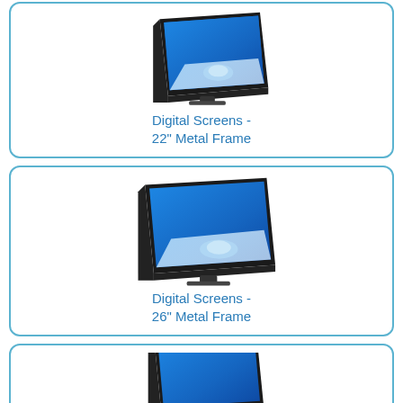[Figure (illustration): A flat panel monitor/digital screen with black metal frame, shown at an angle displaying a blue ice/water image, 22 inch metal frame product photo]
Digital Screens -
22" Metal Frame
[Figure (illustration): A flat panel monitor/digital screen with black metal frame, shown at an angle displaying a blue ice/water image, 26 inch metal frame product photo]
Digital Screens -
26" Metal Frame
[Figure (illustration): A flat panel monitor/digital screen with black metal frame, shown at an angle displaying a blue image, partially visible at bottom of page]